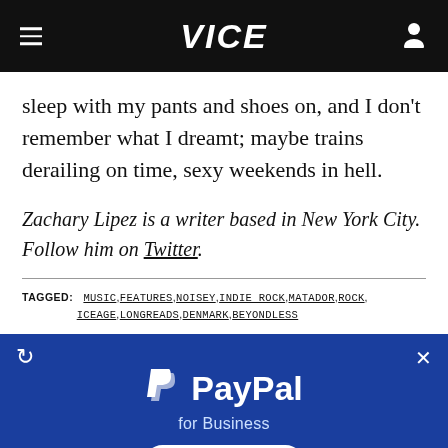VICE
sleep with my pants and shoes on, and I don't remember what I dreamt; maybe trains derailing on time, sexy weekends in hell.
Zachary Lipez is a writer based in New York City. Follow him on Twitter.
TAGGED: MUSIC, FEATURES, NOISEY, INDIE ROCK, MATADOR, ROCK, ICEAGE, LONGREADS, DENMARK, BEYONDLESS
[Figure (infographic): PayPal for Business advertisement banner with logo, subtitle 'for Business', and 'Learn More' button on blue background]